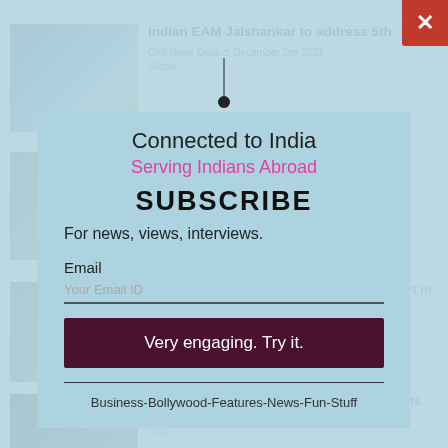[Figure (screenshot): Background news website showing multiple article listings with images, partially visible behind a subscription modal overlay]
Connected to India
Serving Indians Abroad
SUBSCRIBE
For news, views, interviews.
Email
Your Email ID
Very engaging. Try it.
Business-Bollywood-Features-News-Fun-Stuff